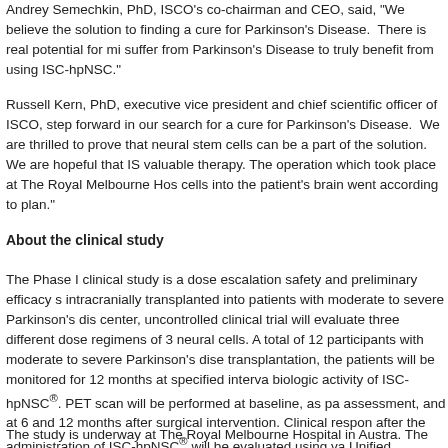Andrey Semechkin, PhD, ISCO's co-chairman and CEO, said, "We believe the solution to finding a cure for Parkinson's Disease. There is real potential for mi suffer from Parkinson's Disease to truly benefit from using ISC-hpNSC."
Russell Kern, PhD, executive vice president and chief scientific officer of ISCO, step forward in our search for a cure for Parkinson's Disease. We are thrilled to prove that neural stem cells can be a part of the solution. We are hopeful that IS valuable therapy. The operation which took place at The Royal Melbourne Hos cells into the patient's brain went according to plan."
About the clinical study
The Phase I clinical study is a dose escalation safety and preliminary efficacy s intracranially transplanted into patients with moderate to severe Parkinson's dis center, uncontrolled clinical trial will evaluate three different dose regimens of 3 neural cells. A total of 12 participants with moderate to severe Parkinson's dise transplantation, the patients will be monitored for 12 months at specified interva biologic activity of ISC-hpNSC®. PET scan will be performed at baseline, as pa assessment, and at 6 and 12 months after surgical intervention. Clinical respon after the administration of ISC-hpNSC® will be evaluated using va Unified Parkinson Disease Rating Scale (UPDRS), Hoehn and Ya
The study is underway at The Royal Melbourne Hospital in Austra. The study